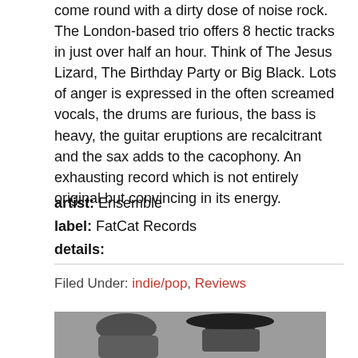come round with a dirty dose of noise rock. The London-based trio offers 8 hectic tracks in just over half an hour. Think of The Jesus Lizard, The Birthday Party or Big Black. Lots of anger is expressed in the often screamed vocals, the drums are furious, the bass is heavy, the guitar eruptions are recalcitrant and the sax adds to the cacophony. An exhausting record which is not entirely original but convincing in its energy.
artist: Ensemble
label: FatCat Records
details:
Filed Under: indie/pop, Reviews
[Figure (photo): Black and white photograph of two people, one wearing a large wide-brimmed hat]